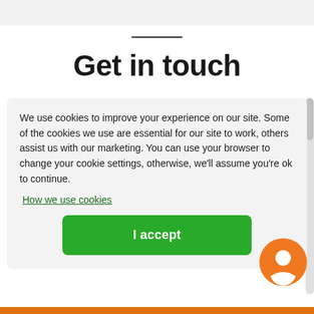Get in touch
We use cookies to improve your experience on our site. Some of the cookies we use are essential for our site to work, others assist us with our marketing. You can use your browser to change your cookie settings, otherwise, we'll assume you're ok to continue.
How we use cookies
I accept